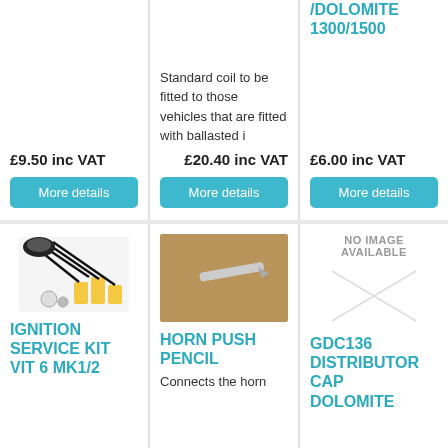£9.50 inc VAT
More details
Standard coil to be fitted to those vehicles that are fitted with ballasted i
£20.40 inc VAT
More details
/DOLOMITE 1300/1500
£6.00 inc VAT
More details
[Figure (photo): Ignition service kit components including spark plugs and wires]
IGNITION SERVICE KIT VIT 6 MK1/2
[Figure (photo): Horn push pencil - a thin metal pencil-shaped component on brown background]
HORN PUSH PENCIL
Connects the horn
NO IMAGE AVAILABLE
GDC136 DISTRIBUTOR CAP DOLOMITE